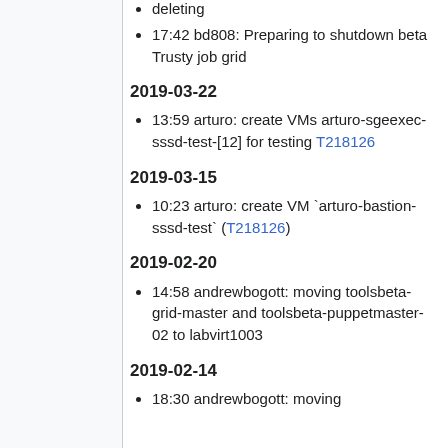deleting
17:42 bd808: Preparing to shutdown beta Trusty job grid
2019-03-22
13:59 arturo: create VMs arturo-sgeexec-sssd-test-[12] for testing T218126
2019-03-15
10:23 arturo: create VM `arturo-bastion-sssd-test` (T218126)
2019-02-20
14:58 andrewbogott: moving toolsbeta-grid-master and toolsbeta-puppetmaster-02 to labvirt1003
2019-02-14
18:30 andrewbogott: moving